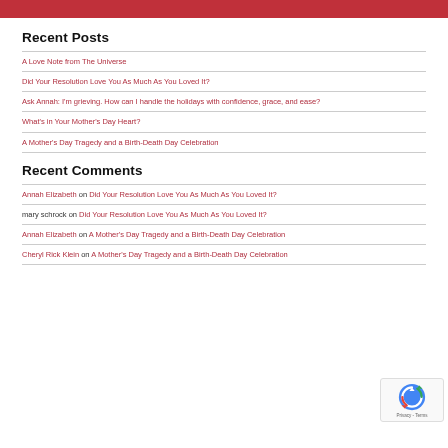[Figure (other): Red decorative bar at top of page]
Recent Posts
A Love Note from The Universe
Did Your Resolution Love You As Much As You Loved It?
Ask Annah: I'm grieving. How can I handle the holidays with confidence, grace, and ease?
What's in Your Mother's Day Heart?
A Mother's Day Tragedy and a Birth-Death Day Celebration
Recent Comments
Annah Elizabeth on Did Your Resolution Love You As Much As You Loved It?
mary schrock on Did Your Resolution Love You As Much As You Loved It?
Annah Elizabeth on A Mother's Day Tragedy and a Birth-Death Day Celebration
Cheryl Rick Klein on A Mother's Day Tragedy and a Birth-Death Day Celebration